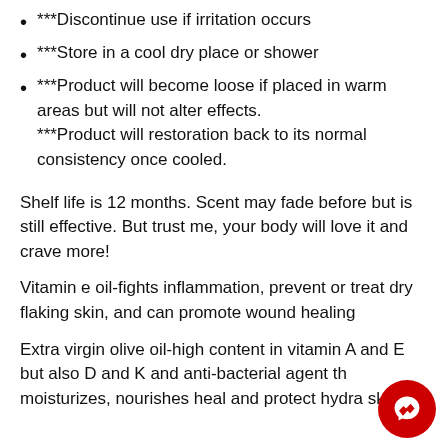***Discontinue use if irritation occurs
***Store in a cool dry place or shower
***Product will become loose if placed in warm areas but will not alter effects. ***Product will restoration back to its normal consistency once cooled.
Shelf life is 12 months. Scent may fade before but is still effective. But trust me, your body will love it and crave more!
Vitamin e oil-fights inflammation, prevent or treat dry flaking skin, and can promote wound healing
Extra virgin olive oil-high content in vitamin A and E but also D and K and anti-bacterial agent that moisturizes, nourishes heal and protect hydrated skin